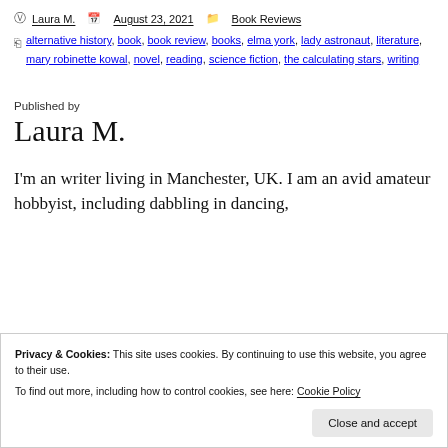Laura M.  August 23, 2021  Book Reviews
alternative history, book, book review, books, elma york, lady astronaut, literature, mary robinette kowal, novel, reading, science fiction, the calculating stars, writing
Published by
Laura M.
I'm an writer living in Manchester, UK. I am an avid amateur hobbyist, including dabbling in dancing,
Privacy & Cookies: This site uses cookies. By continuing to use this website, you agree to their use. To find out more, including how to control cookies, see here: Cookie Policy